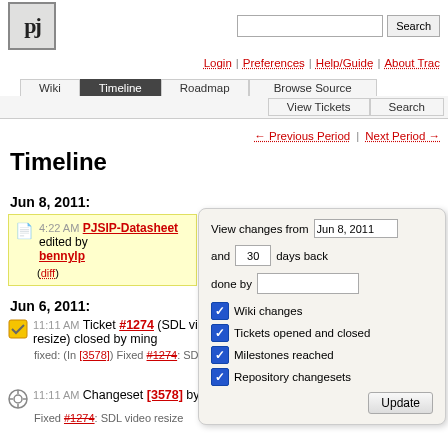pj [logo] | Search [search box] | Login | Preferences | Help/Guide | About Trac
Wiki | Timeline | Roadmap | Browse Source | View Tickets | Search
← Previous Period | Next Period →
Timeline
Jun 8, 2011:
4:22 AM PJSIP-Datasheet edited by bennylp (diff)
Jun 6, 2011:
11:11 AM Ticket #1274 (SDL video resize) closed by ming
fixed: (In [3578]) Fixed #1274: SDL video resize
11:11 AM Changeset [3578] by ming
Fixed #1274: SDL video resize
[Figure (screenshot): Sidebar panel: View changes from Jun 8, 2011 and 30 days back done by [text field]. Checkboxes: Wiki changes (checked), Tickets opened and closed (checked), Milestones reached (checked), Repository changesets (checked). Update button.]